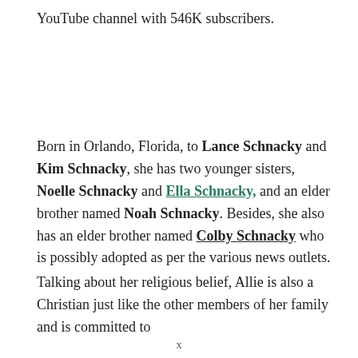YouTube channel with 546K subscribers.
Born in Orlando, Florida, to Lance Schnacky and Kim Schnacky, she has two younger sisters, Noelle Schnacky and Ella Schnacky, and an elder brother named Noah Schnacky. Besides, she also has an elder brother named Colby Schnacky who is possibly adopted as per the various news outlets.
Talking about her religious belief, Allie is also a Christian just like the other members of her family and is committed to
x